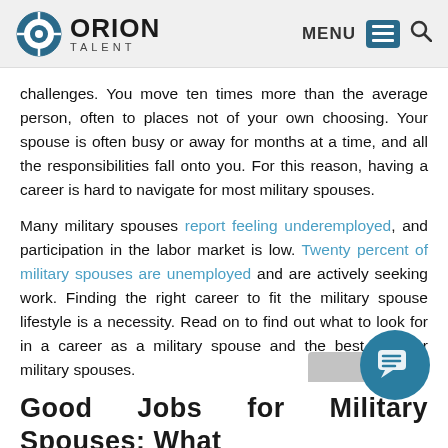ORION TALENT | MENU
challenges. You move ten times more than the average person, often to places not of your own choosing. Your spouse is often busy or away for months at a time, and all the responsibilities fall onto you. For this reason, having a career is hard to navigate for most military spouses.
Many military spouses report feeling underemployed, and participation in the labor market is low. Twenty percent of military spouses are unemployed and are actively seeking work. Finding the right career to fit the military spouse lifestyle is a necessity. Read on to find out what to look for in a career as a military spouse and the best jobs for military spouses.
Good Jobs for Military Spouses: What